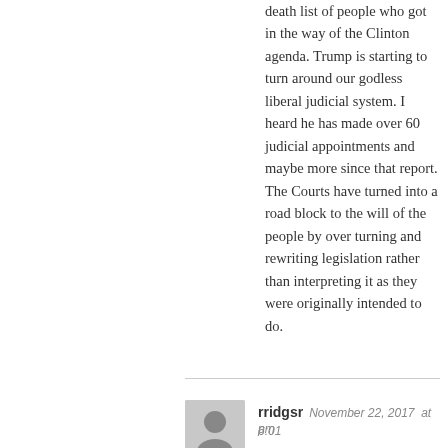death list of people who got in the way of the Clinton agenda. Trump is starting to turn around our godless liberal judicial system. I heard he has made over 60 judicial appointments and maybe more since that report. The Courts have turned into a road block to the will of the people by over turning and rewriting legislation rather than interpreting it as they were originally intended to do.
rridgsr  November 22, 2017  at 6:01 pm